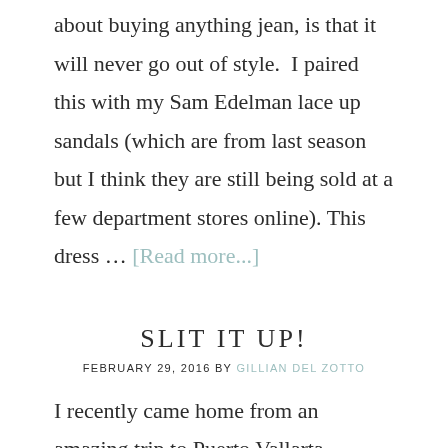about buying anything jean, is that it will never go out of style.  I paired this with my Sam Edelman lace up sandals (which are from last season but I think they are still being sold at a few department stores online). This dress … [Read more...]
SLIT IT UP!
FEBRUARY 29, 2016 BY GILLIAN DEL ZOTTO
I recently came home from an amazing trip to Puerto Vallarta, Mexico. I was dreading the cold New York weather but was shocked to walk out of the airport to sunny blue skies. With this amazing